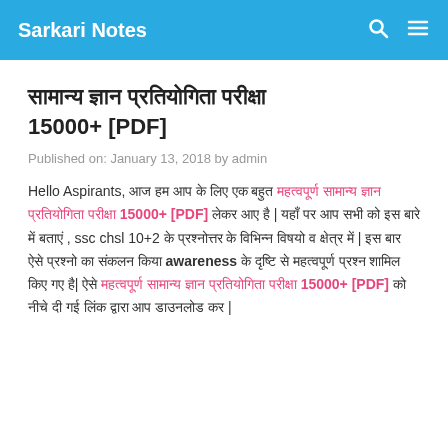Sarkari Notes
सामान्य ज्ञान प्रतियोगिता परीक्षा 15000+ [PDF]
Published on: January 13, 2018 by admin
Hello Aspirants, आज हम आप के लिए एक बहुत महत्वपूर्ण सामान्य ज्ञान प्रतियोगिता परीक्षा 15000+ [PDF] लेकर आए है | यहाँ पर आप सभी को इस बारे में बताएं , ssc chsl 10+2 के प्रश्नोत्तर के विभिन्न विषयो व क्षेत्र में | इस बार ऐसे प्रश्नो का संकलन किया awareness के दृष्टि से महत्वपूर्ण प्रश्न शामिल किए गए है| ऐसे महत्वपूर्ण सामान्य ज्ञान प्रतियोगिता परीक्षा 15000+ [PDF] को नीचे दी गई लिंक द्वारा आप डाउनलोड कर |